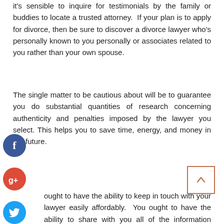it's sensible to inquire for testimonials by the family or buddies to locate a trusted attorney. If your plan is to apply for divorce, then be sure to discover a divorce lawyer who's personally known to you personally or associates related to you rather than your own spouse.
The single matter to be cautious about will be to guarantee you do substantial quantities of research concerning authenticity and penalties imposed by the lawyer you select. This helps you to save time, energy, and money in the future.
ought to have the ability to keep in touch with your lawyer easily affordably. You ought to have the ability to share with you all of the information smoothly and keep just as much transparency as can.
This can enable you in addition to your lawyer to study your claim